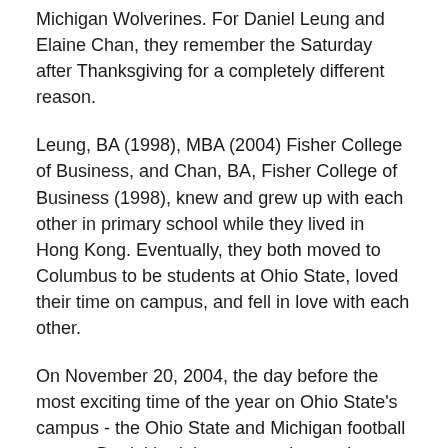Michigan Wolverines. For Daniel Leung and Elaine Chan, they remember the Saturday after Thanksgiving for a completely different reason.
Leung, BA (1998), MBA (2004) Fisher College of Business, and Chan, BA, Fisher College of Business (1998), knew and grew up with each other in primary school while they lived in Hong Kong. Eventually, they both moved to Columbus to be students at Ohio State, loved their time on campus, and fell in love with each other.
On November 20, 2004, the day before the most exciting time of the year on Ohio State's campus - the Ohio State and Michigan football game - Daniel had the opportunity to take Elaine on the field of Ohio Stadium as the football players were practicing for the rivalry game. Elaine thought they were going to take pictures together, however what she didn't expect was for Daniel to drop to one knee to propose.